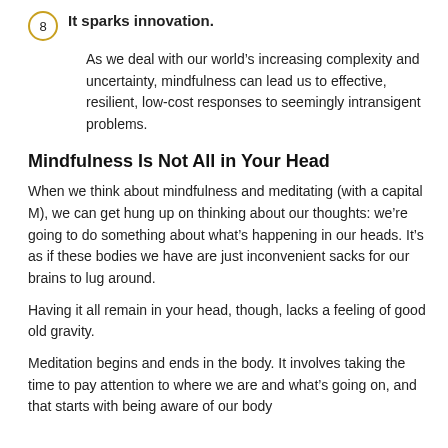8. It sparks innovation.
As we deal with our world’s increasing complexity and uncertainty, mindfulness can lead us to effective, resilient, low-cost responses to seemingly intransigent problems.
Mindfulness Is Not All in Your Head
When we think about mindfulness and meditating (with a capital M), we can get hung up on thinking about our thoughts: we’re going to do something about what’s happening in our heads. It’s as if these bodies we have are just inconvenient sacks for our brains to lug around.
Having it all remain in your head, though, lacks a feeling of good old gravity.
Meditation begins and ends in the body. It involves taking the time to pay attention to where we are and what’s going on, and that starts with being aware of our body